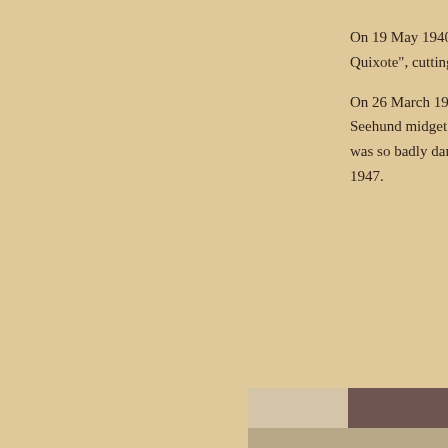On 19 May 1940 Pu... Quixote", cutting cor...
On 26 March 1945 P... Seehund midget sub... was so badly damag... 1947.
[Figure (photo): Partial image visible at bottom right corner of page, showing what appears to be a photograph with beige and dark brown tones.]